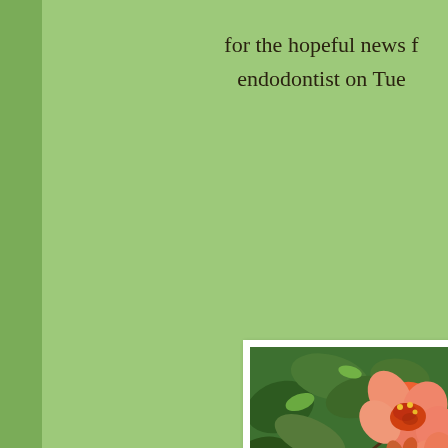for the hopeful news f endodontist on Tue
[Figure (photo): A close-up photo of orange and pink trumpet-shaped flowers (likely Campsis/trumpet vine) with green leafy background, displayed with a white border/frame, partially cut off at right and bottom edges of the page.]